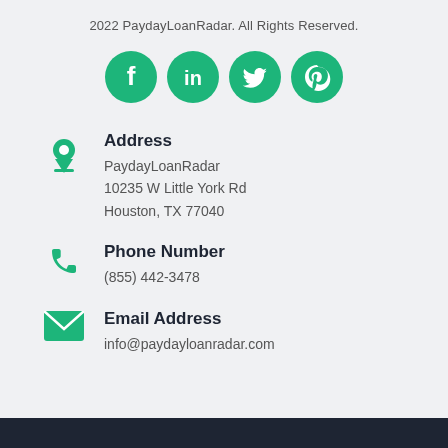2022 PaydayLoanRadar. All Rights Reserved.
[Figure (infographic): Four green circular social media icons: Facebook, LinkedIn, Twitter, Pinterest]
Address
PaydayLoanRadar
10235 W Little York Rd
Houston, TX 77040
Phone Number
(855) 442-3478
Email Address
info@paydayloanradar.com